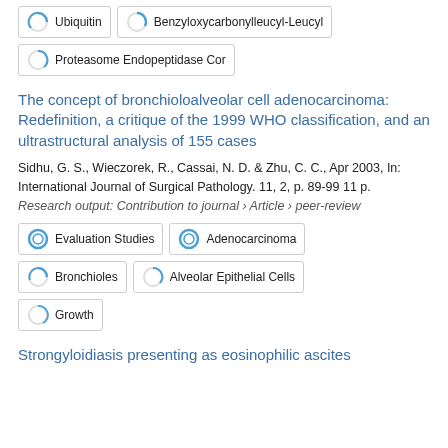Ubiquitin
Benzyloxycarbonylleucyl-Leucyl
Proteasome Endopeptidase Cor
The concept of bronchioloalveolar cell adenocarcinoma: Redefinition, a critique of the 1999 WHO classification, and an ultrastructural analysis of 155 cases
Sidhu, G. S., Wieczorek, R., Cassai, N. D. & Zhu, C. C., Apr 2003, In: International Journal of Surgical Pathology. 11, 2, p. 89-99 11 p.
Research output: Contribution to journal › Article › peer-review
Evaluation Studies
Adenocarcinoma
Bronchioles
Alveolar Epithelial Cells
Growth
Strongyloidiasis presenting as eosinophilic ascites